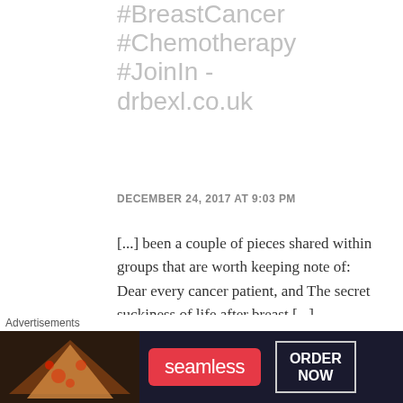#BreastCancer #Chemotherapy #JoinIn - drbexl.co.uk
DECEMBER 24, 2017 AT 9:03 PM
[...] been a couple of pieces shared within groups that are worth keeping note of: Dear every cancer patient, and The secret suckiness of life after breast [...]
[Figure (screenshot): Seamless food delivery advertisement banner with pizza image, seamless logo in red, and ORDER NOW button]